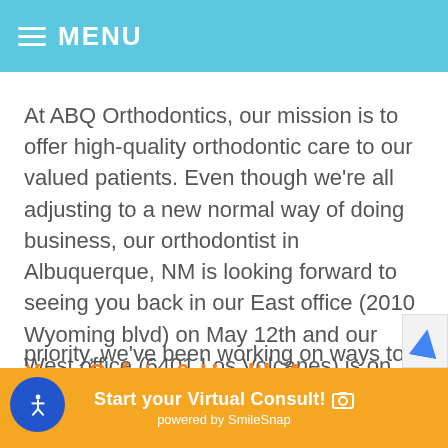MENU
At ABQ Orthodontics, our mission is to offer high-quality orthodontic care to our valued patients. Even though we’re all adjusting to a new normal way of doing business, our orthodontist in Albuquerque, NM is looking forward to seeing you back in our East office (2010 Wyoming blvd) on May 12th and our West office (6401 Los Volcanes) is on May 13th!
Your Safety & Health Are Covered
priority, we’ve been working on ways to help
Start your Virtual Consult! 📷
powered by SmileSnap